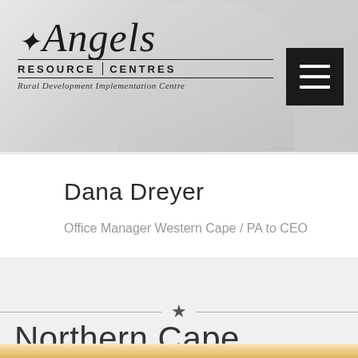[Figure (photo): Header banner photo showing a person in light/white clothing, with Angels Resource Centres logo overlay and hamburger menu button in top right corner]
Dana Dreyer
Office Manager Western Cape / PA to CEO
[Figure (other): Horizontal divider with a star icon in the center]
Northern Cape
[Figure (photo): Portrait photo of a blonde woman, cropped at top of page bottom section]